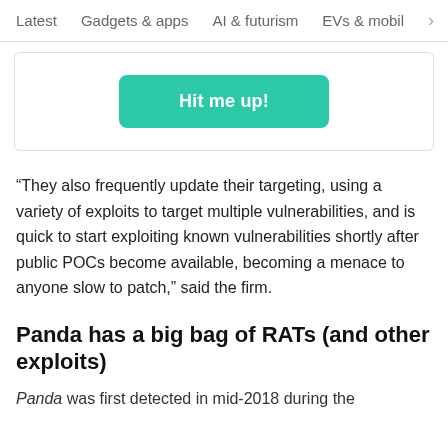Latest   Gadgets & apps   AI & futurism   EVs & mobil  >
[Figure (other): A teal/green rounded button labeled 'Hit me up!' inside a white card with border]
“They also frequently update their targeting, using a variety of exploits to target multiple vulnerabilities, and is quick to start exploiting known vulnerabilities shortly after public POCs become available, becoming a menace to anyone slow to patch,” said the firm.
Panda has a big bag of RATs (and other exploits)
Panda was first detected in mid-2018 during the